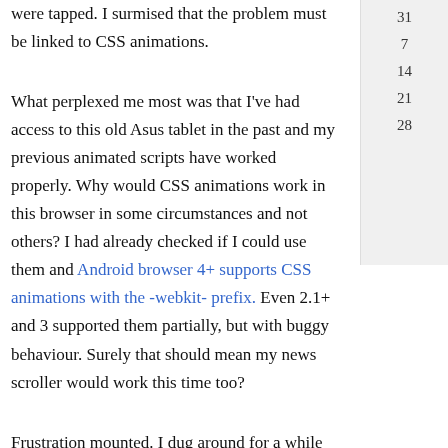were tapped. I surmised that the problem must be linked to CSS animations.
What perplexed me most was that I've had access to this old Asus tablet in the past and my previous animated scripts have worked properly. Why would CSS animations work in this browser in some circumstances and not others? I had already checked if I could use them and Android browser 4+ supports CSS animations with the -webkit- prefix. Even 2.1+ and 3 supported them partially, but with buggy behaviour. Surely that should mean my news scroller would work this time too?
Frustration mounted. I dug around for a while longer and landed on the "Dispelling the